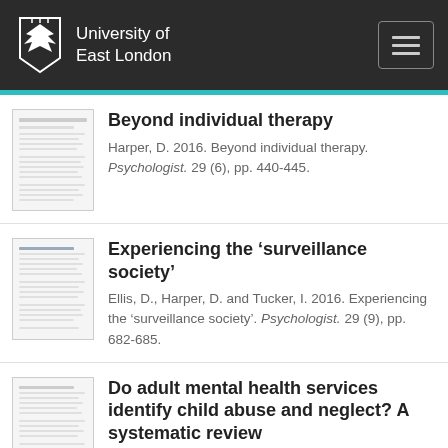University of East London
Beyond individual therapy — Harper, D. 2016. Beyond individual therapy. Psychologist. 29 (6), pp. 440-445.
Experiencing the ‘surveillance society’ — Ellis, D., Harper, D. and Tucker, I. 2016. Experiencing the ‘surveillance society’. Psychologist. 29 (9), pp. 682-685.
Do adult mental health services identify child abuse and neglect? A systematic review — Read, J., Harper, D., Tucker, I. and Kennedy, A. 2017. Do adult mental health services...